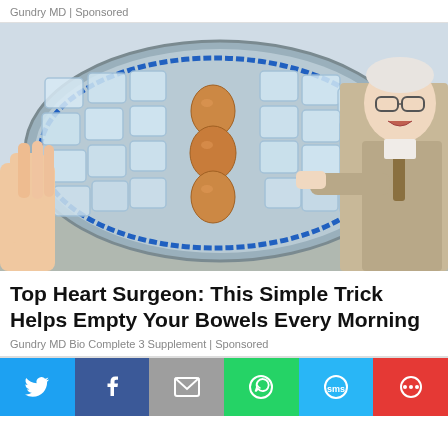Gundry MD | Sponsored
[Figure (photo): A hand holding a tray of ice cubes with three brown eggs stacked vertically in the center, and an older man in a suit pointing at the eggs on the right side.]
Top Heart Surgeon: This Simple Trick Helps Empty Your Bowels Every Morning
Gundry MD Bio Complete 3 Supplement | Sponsored
[Figure (infographic): Social sharing bar with Twitter, Facebook, Email, WhatsApp, SMS, and More buttons.]